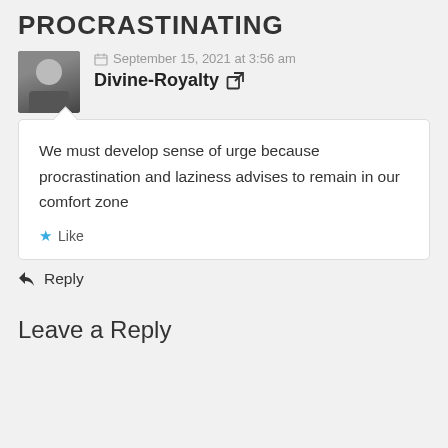PROCRASTINATING
September 15, 2021 at 3:56 am
Divine-Royalty
We must develop sense of urge because procrastination and laziness advises to remain in our comfort zone
Like
Reply
Leave a Reply